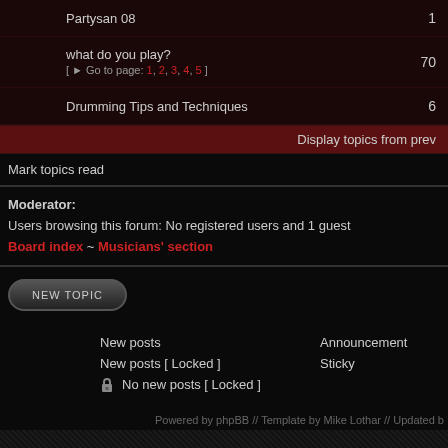| Topic | Posts |
| --- | --- |
| Partysan 08 | 1 |
| what do you play?
[ Go to page: 1, 2, 3, 4, 5 ] | 70 |
| Drumming Tips and Techniques | 6 |
Display topics from prev
Mark topics read
Moderator:
Users browsing this forum: No registered users and 1 guest
Board index ~ Musicians' section
NEW TOPIC
New posts
New posts [ Locked ]
No new posts [ Locked ]
Announcement
Sticky
Powered by phpBB // Template by Mike Lothar // Updated b